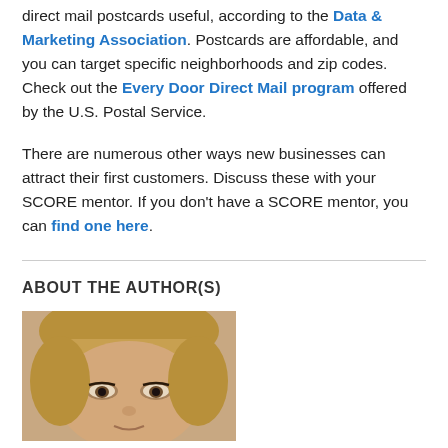direct mail postcards useful, according to the Data & Marketing Association. Postcards are affordable, and you can target specific neighborhoods and zip codes. Check out the Every Door Direct Mail program offered by the U.S. Postal Service.
There are numerous other ways new businesses can attract their first customers. Discuss these with your SCORE mentor. If you don't have a SCORE mentor, you can find one here.
ABOUT THE AUTHOR(S)
[Figure (photo): Headshot of a woman with blonde bangs, partial face visible, cropped at bottom of page.]